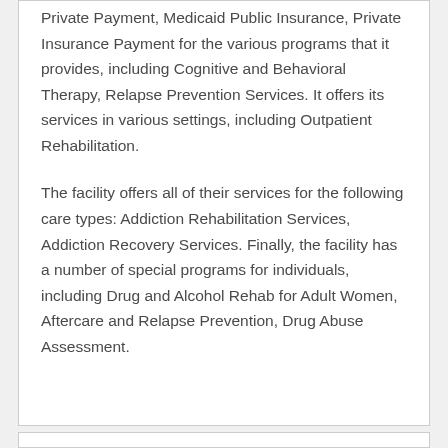Private Payment, Medicaid Public Insurance, Private Insurance Payment for the various programs that it provides, including Cognitive and Behavioral Therapy, Relapse Prevention Services. It offers its services in various settings, including Outpatient Rehabilitation.

The facility offers all of their services for the following care types: Addiction Rehabilitation Services, Addiction Recovery Services. Finally, the facility has a number of special programs for individuals, including Drug and Alcohol Rehab for Adult Women, Aftercare and Relapse Prevention, Drug Abuse Assessment.